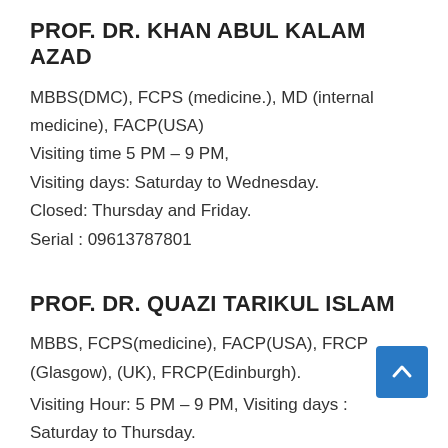PROF. DR. KHAN ABUL KALAM AZAD
MBBS(DMC), FCPS (medicine.), MD (internal medicine), FACP(USA)
Visiting time 5 PM – 9 PM,
Visiting days: Saturday to Wednesday.
Closed: Thursday and Friday.
Serial : 09613787801
PROF. DR. QUAZI TARIKUL ISLAM
MBBS, FCPS(medicine), FACP(USA), FRCP (Glasgow), (UK), FRCP(Edinburgh).
Visiting Hour: 5 PM – 9 PM, Visiting days : Saturday to Thursday.